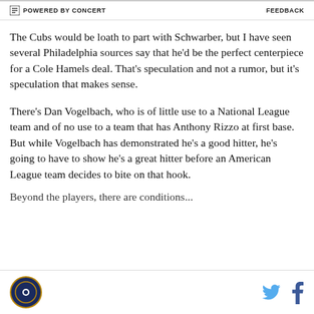POWERED BY CONCERT   FEEDBACK
The Cubs would be loath to part with Schwarber, but I have seen several Philadelphia sources say that he'd be the perfect centerpiece for a Cole Hamels deal. That's speculation and not a rumor, but it's speculation that makes sense.
There's Dan Vogelbach, who is of little use to a National League team and of no use to a team that has Anthony Rizzo at first base. But while Vogelbach has demonstrated he's a good hitter, he's going to have to show he's a great hitter before an American League team decides to bite on that hook.